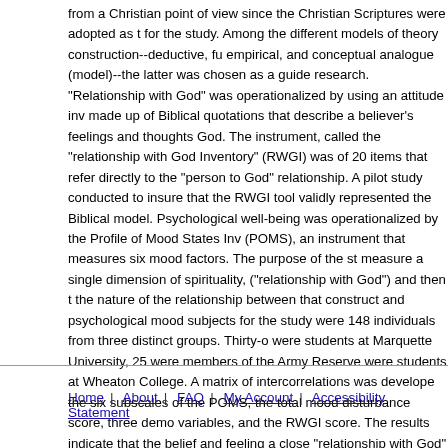from a Christian point of view since the Christian Scriptures were adopted as the basis for the study. Among the different models of theory construction--deductive, functional, empirical, and conceptual analogue (model)--the latter was chosen as a guide for the research. "Relationship with God" was operationalized by using an attitude inventory made up of Biblical quotations that describe a believer's feelings and thoughts about God. The instrument, called the "relationship with God Inventory" (RWGI) was made up of 20 items that refer directly to the "person to God" relationship. A pilot study was conducted to insure that the RWGI tool validly represented the Biblical model. Psychological well-being was operationalized by the Profile of Mood States Inventory (POMS), an instrument that measures six mood factors. The purpose of the study was to measure a single dimension of spirituality, ("relationship with God") and then to explore the nature of the relationship between that construct and psychological mood states. The subjects for the study were 148 individuals from three distinct groups. Thirty-one were students at Marquette University, 25 were members of the Army Reserves, and 92 were students at Wheaton College. A matrix of intercorrelations was developed among the six subscales of the POMS, the total mood disturbance score, three demographic variables, and the RWGI score. The results indicate that the belief and feeling of having a close "relationship with God" as measured by the RWGI is inversely related to depression, anger, and general negative affect as measured by the POMS.
Home | About | FAQ | My Account | Accessibility Statement